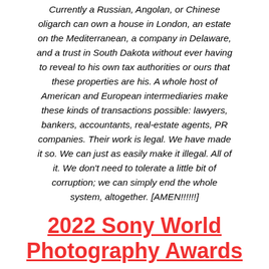Currently a Russian, Angolan, or Chinese oligarch can own a house in London, an estate on the Mediterranean, a company in Delaware, and a trust in South Dakota without ever having to reveal to his own tax authorities or ours that these properties are his. A whole host of American and European intermediaries make these kinds of transactions possible: lawyers, bankers, accountants, real-estate agents, PR companies. Their work is legal. We have made it so. We can just as easily make it illegal. All of it. We don't need to tolerate a little bit of corruption; we can simply end the whole system, altogether. [AMEN!!!!!!]
2022 Sony World Photography Awards